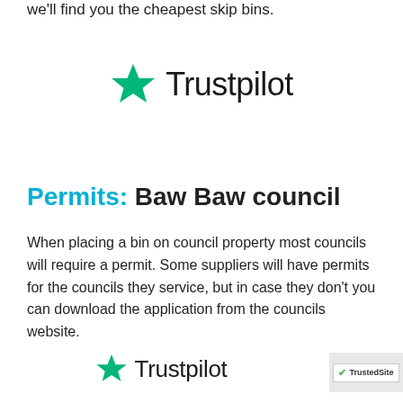we'll find you the cheapest skip bins.
[Figure (logo): Trustpilot logo with green star icon and 'Trustpilot' text, large version]
Permits: Baw Baw council
When placing a bin on council property most councils will require a permit. Some suppliers will have permits for the councils they service, but in case they don't you can download the application from the councils website.
[Figure (logo): Trustpilot logo with green star icon and 'Trustpilot' text, smaller version at bottom]
[Figure (logo): TrustedSite badge with green checkmark in bottom right corner]